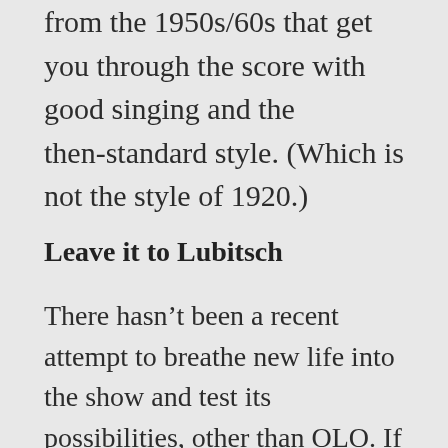from the 1950s/60s that get you through the score with good singing and the then-standard style. (Which is not the style of 1920.)
Leave it to Lubitsch
There hasn't been a recent attempt to breathe new life into the show and test its possibilities, other than OLO. If you want to see what is possible with such nostalgic material without seeming totally outdated, then watch the DVD of Lubitsch's Walzertraum adaption: